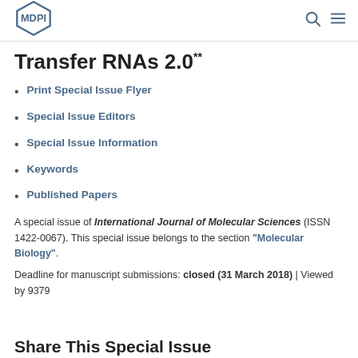MDPI
Transfer RNAs 2.0
Print Special Issue Flyer
Special Issue Editors
Special Issue Information
Keywords
Published Papers
A special issue of International Journal of Molecular Sciences (ISSN 1422-0067). This special issue belongs to the section "Molecular Biology".
Deadline for manuscript submissions: closed (31 March 2018) | Viewed by 9379
Share This Special Issue